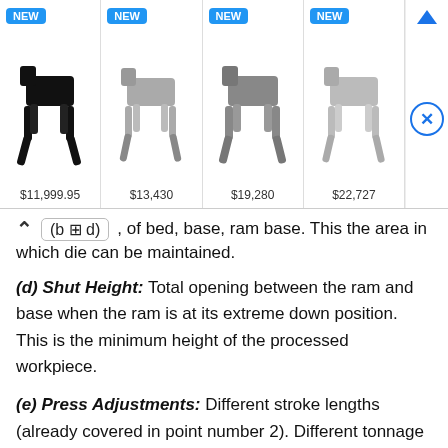[Figure (screenshot): Advertisement banner showing four quadruped robots labeled 'NEW' with prices $11,999.95, $13,430, $19,280, $22,727, with a close/navigation button on the right.]
(b ⊠ d), of bed, base, ram base. This the area in which die can be maintained.
(d) Shut Height: Total opening between the ram and base when the ram is at its extreme down position. This is the minimum height of the processed workpiece.
(e) Press Adjustments: Different stroke lengths (already covered in point number 2). Different tonnage that can be set as per the requirement.